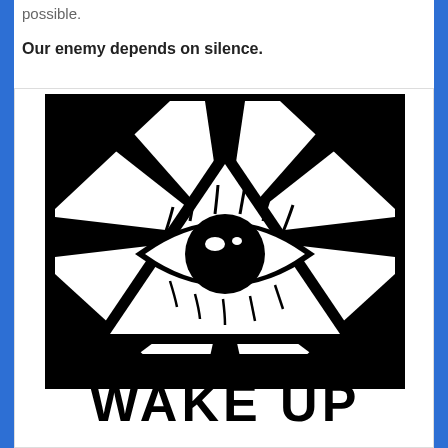possible.
Our enemy depends on silence.
[Figure (illustration): Black and white illustration of an all-seeing eye inside a triangle with radiating rays, surrounded by a square border. Below the image text reads 'WAKE UP' in bold distressed font.]